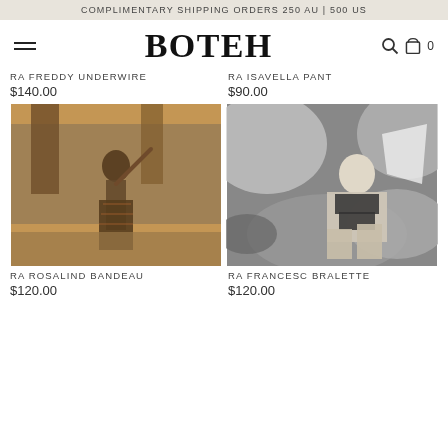COMPLIMENTARY SHIPPING ORDERS 250 AU | 500 US
BOTEH
RA FREDDY UNDERWIRE
$140.00
RA ISAVELLA PANT
$90.00
[Figure (photo): Woman in black bikini top and long patterned skirt posing outdoors near a stone wall with hanging fabric, warm golden tones]
[Figure (photo): Woman in black bikini posing on rocks, black and white photography]
RA ROSALIND BANDEAU
$120.00
RA FRANCESC BRALETTE
$120.00